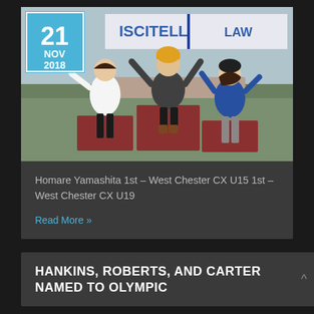[Figure (photo): Three young female athletes standing on a podium outdoors. The center athlete has their hands raised in victory, wearing a yellow hat and dark jacket. The left athlete wears a white sweatshirt and black pants. The right athlete wears a blue jacket and grey pants. A banner in the background partially reads 'ISCITELL LAW'. A blue and white date badge overlay reads '21 NOV 2018'.]
Homare Yamashita 1st – West Chester CX U15 1st – West Chester CX U19
Read More »
HANKINS, ROBERTS, AND CARTER NAMED TO OLYMPIC